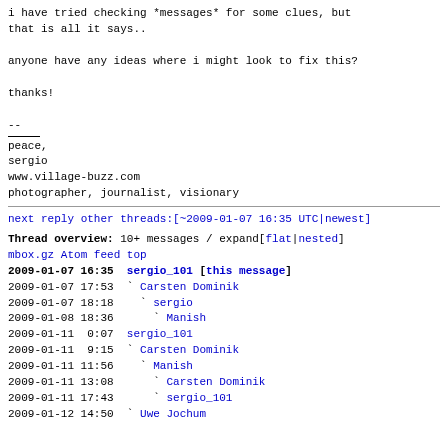i have tried checking *messages* for some clues, but
that is all it says..

anyone have any ideas where i might look to fix this?

thanks!

--
peace,
sergio
www.village-buzz.com
photographer, journalist, visionary
next          reply   other threads:[~2009-01-07
16:35 UTC|newest]
Thread overview: 10+ messages / expand[flat|nested]
mbox.gz  Atom feed  top
2009-01-07 16:35  sergio_101 [this message]
2009-01-07 17:53  ` Carsten Dominik
2009-01-07 18:18    ` sergio
2009-01-08 18:36      ` Manish
2009-01-11  0:07  sergio_101
2009-01-11  9:15  ` Carsten Dominik
2009-01-11 11:56    ` Manish
2009-01-11 13:08      ` Carsten Dominik
2009-01-11 17:43      ` sergio_101
2009-01-12 14:50  ` Uwe Jochum